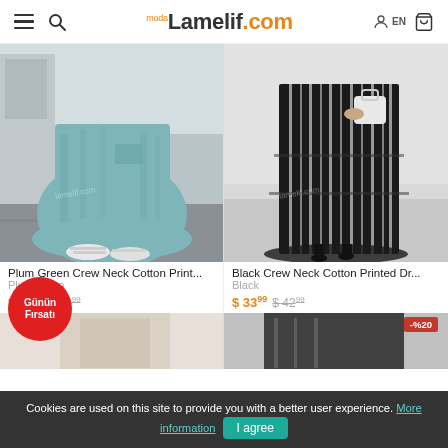Lamelif.com - moda
[Figure (photo): Product photo of Plum Green Crew Neck Cotton Printed wide-leg skirt, showing lower body of woman wearing teal/blue-green wide skirt with white velcro sneakers, outdoor urban background]
[Figure (photo): Product photo of Black Crew Neck Cotton Printed Dress, showing lower body of woman wearing black and white striped tiered dress with black pointed heels, holding white bag, indoor background]
Plum Green Crew Neck Cotton Print...
Plum green
$33.99  $48.99
Black Crew Neck Cotton Printed Dr...
Black
$33.99  $42.99
[Figure (photo): Partial product image at bottom left - beige/cream colored garment]
[Figure (photo): Partial product image at bottom right with -% 20 discount badge, dark garment]
Günün Fırsatı
-%20
Cookies are used on this site to provide you with a better user experience. More information  I agree